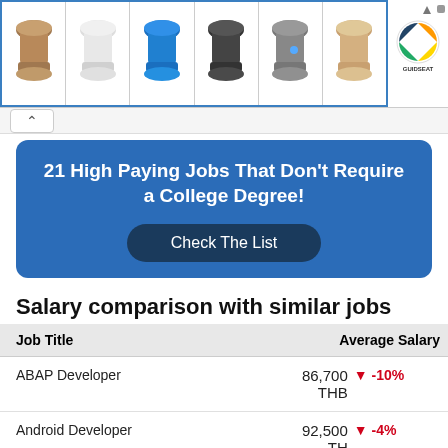[Figure (screenshot): Advertisement banner showing six plastic seat/stool products in different colors (brown, white, blue, dark gray, gray, tan) with a GUIDESEAT logo on the right side.]
[Figure (screenshot): Promotional banner with blue background: '21 High Paying Jobs That Don't Require a College Degree!' with 'Check The List' button.]
Salary comparison with similar jobs
| Job Title | Average Salary |
| --- | --- |
| ABAP Developer | 86,700 THB | ▼ -10% |
| Android Developer | 92,500 THB | ▼ -4% |